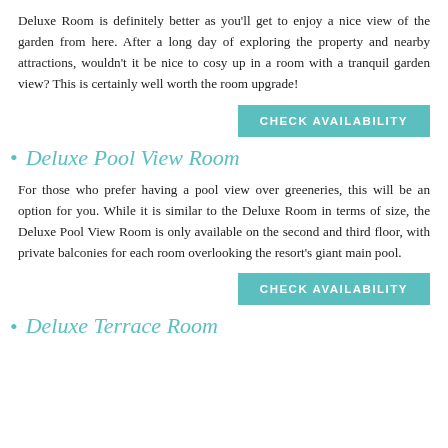Deluxe Room is definitely better as you'll get to enjoy a nice view of the garden from here. After a long day of exploring the property and nearby attractions, wouldn't it be nice to cosy up in a room with a tranquil garden view? This is certainly well worth the room upgrade!
CHECK AVAILABILITY
Deluxe Pool View Room
For those who prefer having a pool view over greeneries, this will be an option for you. While it is similar to the Deluxe Room in terms of size, the Deluxe Pool View Room is only available on the second and third floor, with private balconies for each room overlooking the resort's giant main pool.
CHECK AVAILABILITY
Deluxe Terrace Room